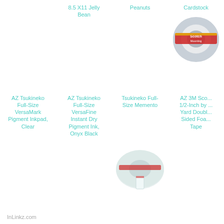8.5 X11 Jelly Bean
Peanuts
Cardstock
[Figure (photo): Roll of Scotch double-sided foam tape]
AZ Tsukineko Full-Size VersaMark Pigment Inkpad, Clear
AZ Tsukineko Full-Size VersaFine Instant Dry Pigment Ink, Onyx Black
Tsukineko Full-Size Memento
AZ 3M Scotch 1/2-Inch by 1-Yard Double-Sided Foam Tape
[Figure (photo): Roll of Scor-Tape adhesive tape]
AZ Copic Markers 36-Piece Sketch Basic Set
Copic Marker 8-1/2-Inch by 11-Inch Express Blending Card
AZ Scor-Pal SP202 Scor-Tape, 0.25 by 27-Yard
InLinkz.com